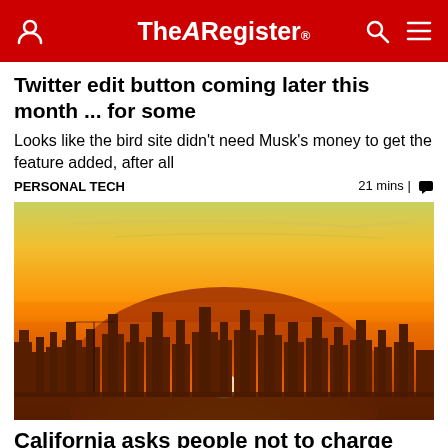The Register
Twitter edit button coming later this month ... for some
Looks like the bird site didn't need Musk's money to get the feature added, after all
PERSONAL TECH   21 mins | 💬
[Figure (photo): City skyline silhouette against a vivid orange and yellow sunset sky with the sun visible at the horizon]
California asks people not to charge EVs during